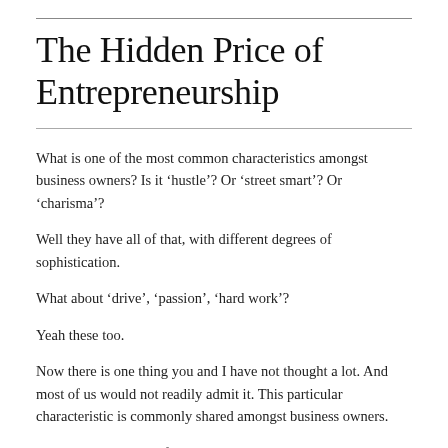The Hidden Price of Entrepreneurship
What is one of the most common characteristics amongst business owners? Is it ‘hustle’? Or ‘street smart’? Or ‘charisma’?
Well they have all of that, with different degrees of sophistication.
What about ‘drive’, ‘passion’, ‘hard work’?
Yeah these too.
Now there is one thing you and I have not thought a lot. And most of us would not readily admit it. This particular characteristic is commonly shared amongst business owners.
This is the dark side of entrepreneurship.